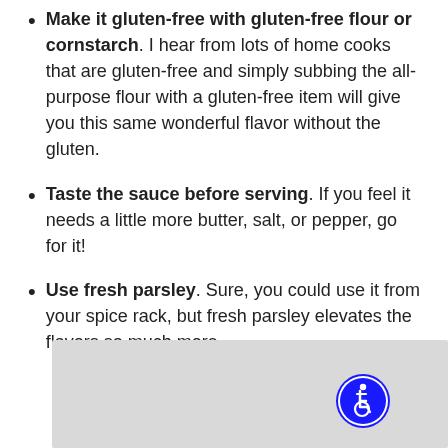Make it gluten-free with gluten-free flour or cornstarch. I hear from lots of home cooks that are gluten-free and simply subbing the all-purpose flour with a gluten-free item will give you this same wonderful flavor without the gluten.
Taste the sauce before serving. If you feel it needs a little more butter, salt, or pepper, go for it!
Use fresh parsley. Sure, you could use it from your spice rack, but fresh parsley elevates the flavors so much more.
[Figure (other): Gray placeholder box with blue accessibility icon (wheelchair user symbol) in the bottom-right corner.]